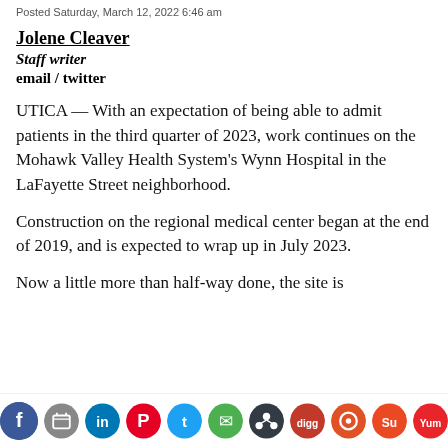Posted Saturday, March 12, 2022 6:46 am
Jolene Cleaver
Staff writer
email / twitter
UTICA — With an expectation of being able to admit patients in the third quarter of 2023, work continues on the Mohawk Valley Health System's Wynn Hospital in the LaFayette Street neighborhood.
Construction on the regional medical center began at the end of 2019, and is expected to wrap up in July 2023.
Now a little more than half-way done, the site is
[Figure (infographic): Social media share bar with icons for Facebook, Print, LinkedIn, Pinterest, Twitter, Email, Buffer, Digg, Reddit, StumbleUpon, and Yummly]